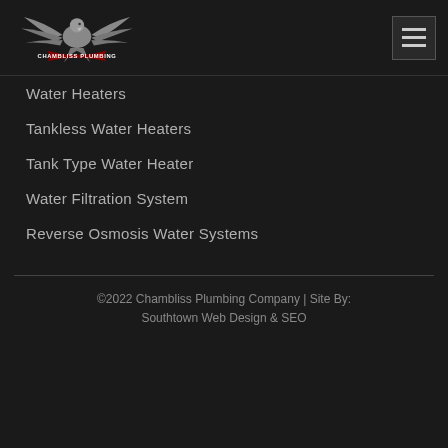Chambliss Plumbing - Logo and navigation menu button
Water Heaters
Tankless Water Heaters
Tank Type Water Heater
Water Filtration System
Reverse Osmosis Water Systems
©2022 Chambliss Plumbing Company | Site By: Southtown Web Design & SEO